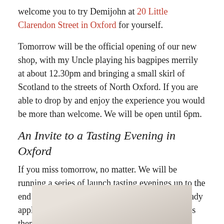welcome you to try Demijohn at 20 Little Clarendon Street in Oxford for yourself.
Tomorrow will be the official opening of our new shop, with my Uncle playing his bagpipes merrily at about 12.30pm and bringing a small skirl of Scotland to the streets of North Oxford. If you are able to drop by and enjoy the experience you would be more than welcome. We will be open until 6pm.
An Invite to a Tasting Evening in Oxford
If you miss tomorrow, no matter. We will be running a series of launch tasting evenings up to the end of November on the house. If you have already applied for an invite and received a reply from us then you need do nothing more as we will be in touch again shortly with booking details. If you wish to be invited to one of our launch tasting evenings at the new shop, then please
[Figure (photo): Partial photo visible at the bottom of the page, showing a light beige/cream colored object or surface, likely related to Demijohn shop interior or product.]